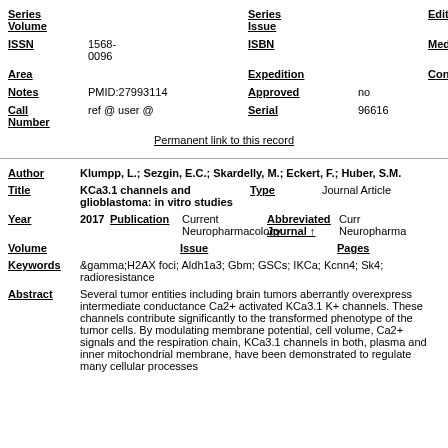| Series Volume |  | Series Issue |  | Edition |  |
| ISSN | 1568-0096 | ISBN |  | Medium |  |
| Area |  | Expedition |  | Conference |  |
| Notes | PMID:27993114 | Approved | no |
| Call Number | ref @ user @ | Serial | 96616 |
Permanent link to this record
| Author | Klumpp, L.; Sezgin, E.C.; Skardelly, M.; Eckert, F.; Huber, S.M. |
| Title | KCa3.1 channels and glioblastoma: in vitro studies | Type | Journal Article |
| Year | 2017 | Publication | Current Neuropharmacology | Abbreviated Journal | Curr Neuropharma |
| Volume |  | Issue |  | Pages |  |
| Keywords | &gamma;H2AX foci; Aldh1a3; Gbm; GSCs; IKCa; Kcnn4; Sk4; radioresistance |
| Abstract | Several tumor entities including brain tumors aberrantly overexpress intermediate conductance Ca2+ activated KCa3.1 K+ channels. These channels contribute significantly to the transformed phenotype of the tumor cells. By modulating membrane potential, cell volume, Ca2+ signals and the respiration chain, KCa3.1 channels in both, plasma and inner mitochondrial membrane, have been demonstrated to regulate many cellular processes |